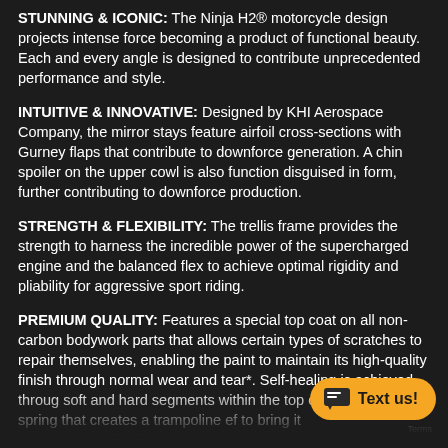STUNNING & ICONIC: The Ninja H2® motorcycle design projects intense force becoming a product of functional beauty. Each and every angle is designed to contribute unprecedented performance and style.
INTUITIVE & INNOVATIVE: Designed by KHI Aerospace Company, the mirror stays feature airfoil cross-sections with Gurney flaps that contribute to downforce generation. A chin spoiler on the upper cowl is also function disguised in form, further contributing to downforce production.
STRENGTH & FLEXIBILITY: The trellis frame provides the strength to harness the incredible power of the supercharged engine and the balanced flex to achieve optimal rigidity and pliability for aggressive sport riding.
PREMIUM QUALITY: Features a special top coat on all non-carbon bodywork parts that allows certain types of scratches to repair themselves, enabling the paint to maintain its high-quality finish through normal wear and tear*. Self-healing is achieved throug soft and hard segments within the top c like a chemical spring that creates a trampoline ef to bring it ment.*Pric t i i di t